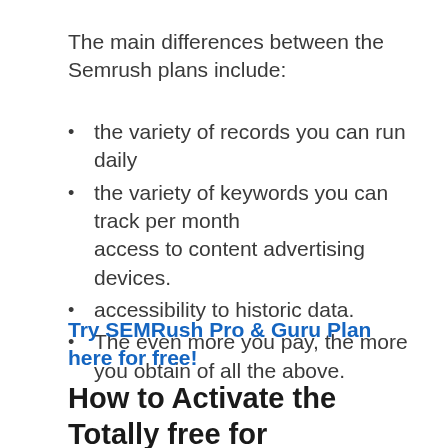The main differences between the Semrush plans include:
the variety of records you can run daily
the variety of keywords you can track per month
access to content advertising devices.
accessibility to historic data.
The even more you pay, the more you obtain of all the above.
Try SEMRush Pro & Guru Plan here for free!
How to Activate the Totally free for SEMrush?